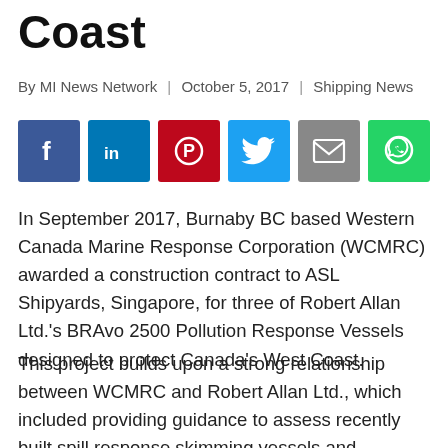Coast
By MI News Network  |  October 5, 2017  |  Shipping News
[Figure (infographic): Row of six social media share buttons: Facebook (blue), LinkedIn (blue), Pinterest (red), Twitter (light blue), Email (grey), WhatsApp (green)]
In September 2017, Burnaby BC based Western Canada Marine Response Corporation (WCMRC) awarded a construction contract to ASL Shipyards, Singapore, for three of Robert Allan Ltd.'s BRAvo 2500 Pollution Response Vessels designed to protect Canada's West Coast.
This project builds upon a strong relationship between WCMRC and Robert Allan Ltd., which included providing guidance to assess recently built spill response skimming vessels and